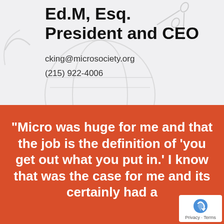Ed.M, Esq.
President and CEO
cking@microsociety.org
(215) 922-4006
"Micro was huge for me and that the job is the definition of 'you get out what you put in.' I know that was the case for me and its certainly had a